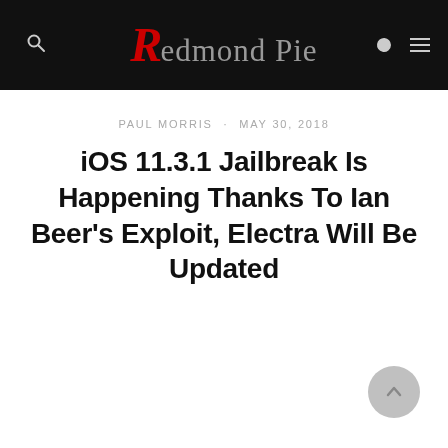Redmond Pie
PAUL MORRIS · MAY 30, 2018
iOS 11.3.1 Jailbreak Is Happening Thanks To Ian Beer's Exploit, Electra Will Be Updated